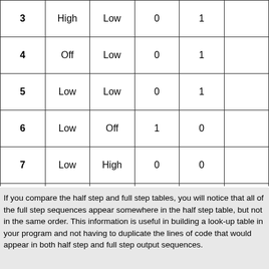| 3 | High | Low | 0 | 1 |  |
| 4 | Off | Low | 0 | 1 |  |
| 5 | Low | Low | 0 | 1 |  |
| 6 | Low | Off | 1 | 0 |  |
| 7 | Low | High | 0 | 0 |  |
| 8 | Off | High | 0 | 0 |  |
If you compare the half step and full step tables, you will notice that all of the full step sequences appear somewhere in the half step table, but not in the same order. This information is useful in building a look-up table in your program and not having to duplicate the lines of code that would appear in both half step and full step output sequences.